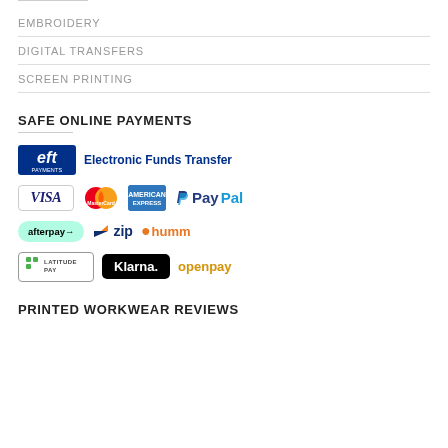EMBROIDERY
DIGITAL TRANSFERS
SCREEN PRINTING
SAFE ONLINE PAYMENTS
[Figure (infographic): Payment logos: EFT (Electronic Funds Transfer), Visa, MasterCard, American Express, PayPal, Afterpay, Zip, Humm, Latitude Pay, Klarna, Openpay]
PRINTED WORKWEAR REVIEWS